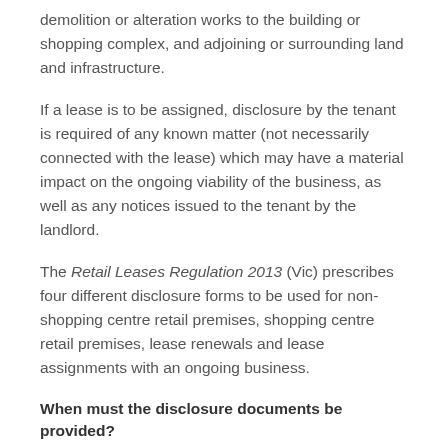demolition or alteration works to the building or shopping complex, and adjoining or surrounding land and infrastructure.
If a lease is to be assigned, disclosure by the tenant is required of any known matter (not necessarily connected with the lease) which may have a material impact on the ongoing viability of the business, as well as any notices issued to the tenant by the landlord.
The Retail Leases Regulation 2013 (Vic) prescribes four different disclosure forms to be used for non-shopping centre retail premises, shopping centre retail premises, lease renewals and lease assignments with an ongoing business.
When must the disclosure documents be provided?
The landlord's disclosure statement must be provided to the tenant at least 7 days before a new